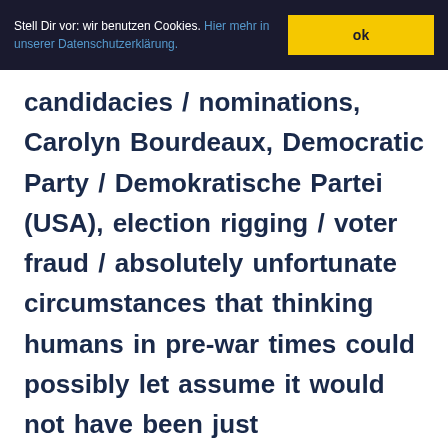Stell Dir vor: wir benutzen Cookies. Hier mehr in unserer Datenschutzerklärung. ok
candidacies / nominations, Carolyn Bourdeaux, Democratic Party / Demokratische Partei (USA), election rigging / voter fraud / absolutely unfortunate circumstances that thinking humans in pre-war times could possibly let assume it would not have been just coincidence, electronic voting / counting / doing-nothing-wrong-they-promise-programs / systems, Georgia (US state), mainstream / centrists / zombie left /